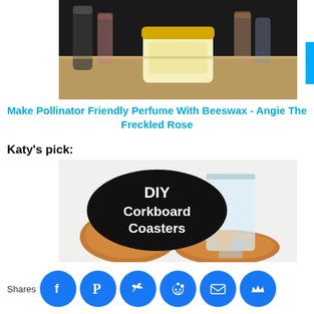[Figure (photo): Photo of a small yellow jar with gold lid on a countertop, with small bottles blurred in the background]
Make Pollinator Friendly Perfume With Beeswax - Angie The Freckled Rose
Katy's pick:
[Figure (photo): DIY Corkboard Coasters - photo showing cork coasters shaped like animals and a glass, with a black oval overlay text saying 'DIY Corkboard Coasters']
Shares